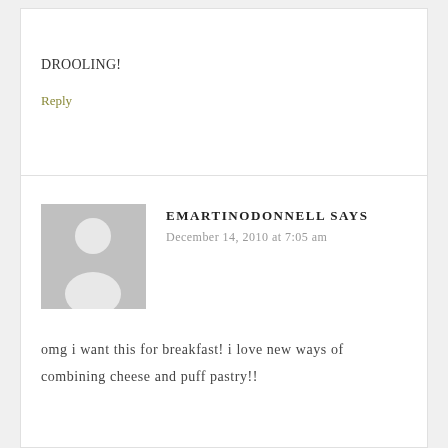DROOLING!
Reply
EMARTINODONNELL SAYS
December 14, 2010 at 7:05 am
[Figure (illustration): Default user avatar placeholder — grey silhouette of a person on grey background]
omg i want this for breakfast! i love new ways of combining cheese and puff pastry!!